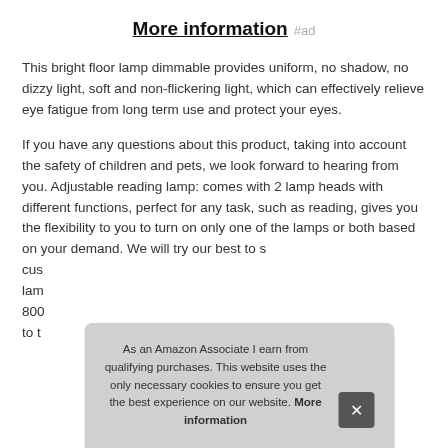More information #ad
This bright floor lamp dimmable provides uniform, no shadow, no dizzy light, soft and non-flickering light, which can effectively relieve eye fatigue from long term use and protect your eyes.
If you have any questions about this product, taking into account the safety of children and pets, we look forward to hearing from you. Adjustable reading lamp: comes with 2 lamp heads with different functions, perfect for any task, such as reading, gives you the flexibility to you to turn on only one of the lamps or both based on your demand. We will try our best to s[...] cus[...] lam[...] 800[...] to t[...]
As an Amazon Associate I earn from qualifying purchases. This website uses the only necessary cookies to ensure you get the best experience on our website. More information